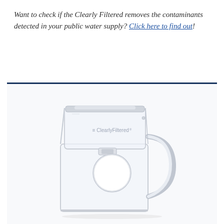Want to check if the Clearly Filtered removes the contaminants detected in your public water supply? Click here to find out!
[Figure (photo): A Clearly Filtered water filter pitcher, transparent/clear plastic construction with a white spherical filter inside, and the ClearlyFiltered logo on the reservoir. The pitcher has a D-shaped handle on the right side.]